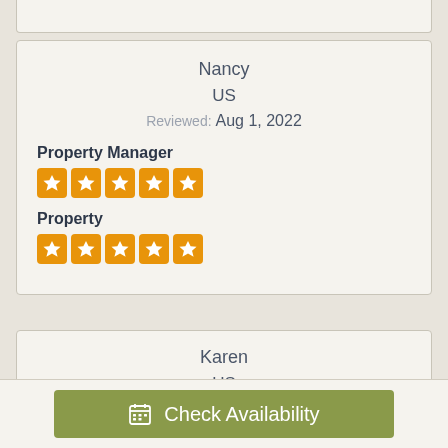Nancy
US
Reviewed: Aug 1, 2022
Property Manager
[Figure (other): 5 orange star rating icons for Property Manager]
Property
[Figure (other): 5 orange star rating icons for Property]
Karen
US
Reviewed: Jun 28, 2022
Check Availability